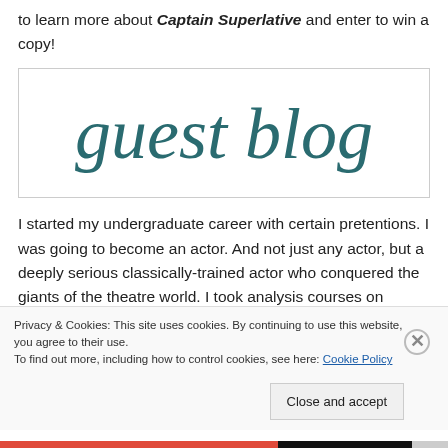to learn more about Captain Superlative and enter to win a copy!
[Figure (illustration): Guest blog logo in teal cursive script inside a bordered box]
I started my undergraduate career with certain pretentions.  I was going to become an actor.  And not just any actor, but a deeply serious classically-trained actor who conquered the giants of the theatre world.  I took analysis courses on Shakespeare, Ibsen, and Euripides.  I studied vocal
Privacy & Cookies: This site uses cookies. By continuing to use this website, you agree to their use.
To find out more, including how to control cookies, see here: Cookie Policy